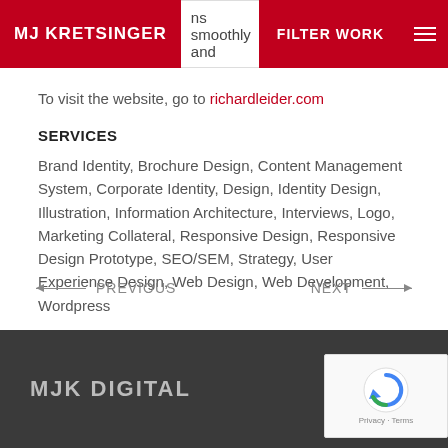MJ KRETSINGER | ns smoothly and | FILTER WORK
To visit the website, go to richardleider.com
SERVICES
Brand Identity, Brochure Design, Content Management System, Corporate Identity, Design, Identity Design, Illustration, Information Architecture, Interviews, Logo, Marketing Collateral, Responsive Design, Responsive Design Prototype, SEO/SEM, Strategy, User Experience Design, Web Design, Web Development, Wordpress
PREVIOUS | NEXT
MJK DIGITAL